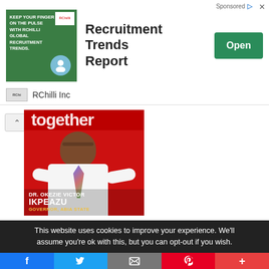[Figure (infographic): Advertisement banner for RChilli Inc - Recruitment Trends Report with green ad image, Open button]
RChilli Inc
[Figure (photo): Magazine cover with red background showing Dr. Okezie Victor Ikpeazu, Governor Abia State, with text 'together' at top]
This website uses cookies to improve your experience. We'll assume you're ok with this, but you can opt-out if you wish.
[Figure (infographic): Social share bar with Facebook, Twitter, Email, Pinterest, and More buttons]